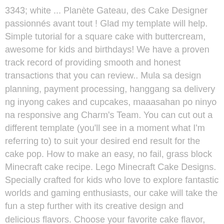3343; white ... Planète Gateau, des Cake Designer passionnés avant tout ! Glad my template will help. Simple tutorial for a square cake with buttercream, awesome for kids and birthdays! We have a proven track record of providing smooth and honest transactions that you can review.. Mula sa design planning, payment processing, hanggang sa delivery ng inyong cakes and cupcakes, maaasahan po ninyo na responsive ang Charm's Team. You can cut out a different template (you'll see in a moment what I'm referring to) to suit your desired end result for the cake pop. How to make an easy, no fail, grass block Minecraft cake recipe. Lego Minecraft Cake Designs. Specially crafted for kids who love to explore fantastic worlds and gaming enthusiasts, our cake will take the fun a step further with its creative design and delicious flavors. Choose your favorite cake flavor, fillings, frosting, and theme for a custom-decorated cake. TNT Cake Minecraft Birthday Cake I had never even heard of Minecraft so I ... Surprise them with this TNT Minecraft cake that will blow up the roof! your own Pins on Pinterest Aug 6, 2016 - Louise Jackson Cake Design added